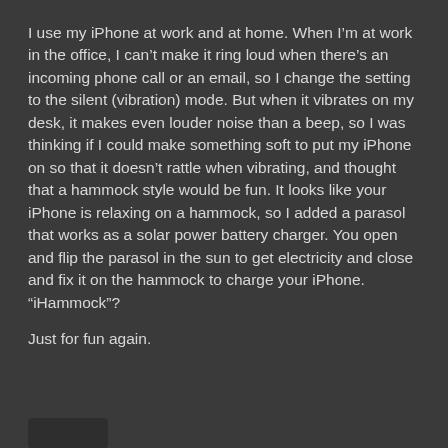I use my iPhone at work and at home. When I'm at work in the office, I can't make it ring loud when there's an incoming phone call or an email, so I change the setting to the silent (vibration) mode. But when it vibrates on my desk, it makes even louder noise than a beep, so I was thinking if I could make something soft to put my iPhone on so that it doesn't rattle when vibrating, and thought that a hammock style would be fun. It looks like your iPhone is relaxing on a hammock, so I added a parasol that works as a solar power battery charger. You open and flip the parasol in the sun to get electricity and close and fix it on the hammock to charge your iPhone.
"iHammock"?
Just for fun again.